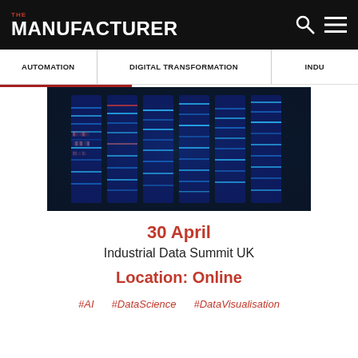THE MANUFACTURER
AUTOMATION | DIGITAL TRANSFORMATION | INDU...
[Figure (photo): Data center / server room with blue glowing server racks and digital code overlay]
30 April
Industrial Data Summit UK
Location: Online
#AI   #DataScience   #DataVisualisation